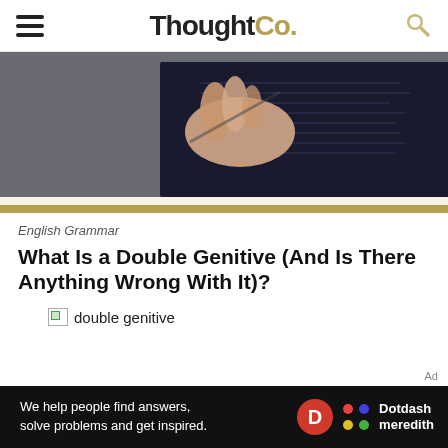ThoughtCo.
[Figure (photo): Close-up photo of fingers holding a pen or writing implement over pages of a book or text]
English Grammar
What Is a Double Genitive (And Is There Anything Wrong With It)?
[Figure (photo): Broken image placeholder labeled 'double genitive']
Ad
We help people find answers, solve problems and get inspired. Dotdash meredith